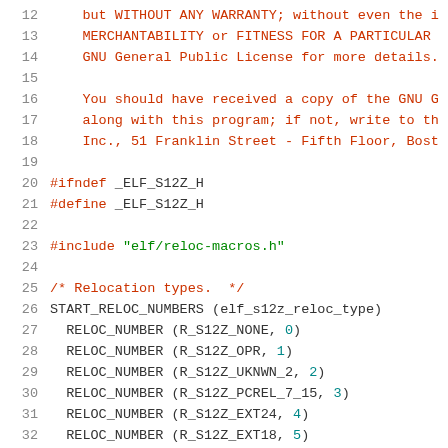Source code listing showing C header file with GNU GPL comment lines 12-18, preprocessor directives #ifndef/#define for _ELF_S12Z_H, #include for elf/reloc-macros.h, and relocation type definitions using START_RELOC_NUMBERS and RELOC_NUMBER macros for elf_s12z_reloc_type (lines 20-32).